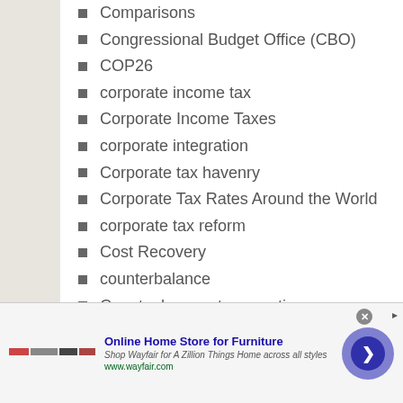Comparisons
Congressional Budget Office (CBO)
COP26
corporate income tax
Corporate Income Taxes
corporate integration
Corporate tax havenry
Corporate Tax Rates Around the World
corporate tax reform
Cost Recovery
counterbalance
Country by country reporting
Covid-19